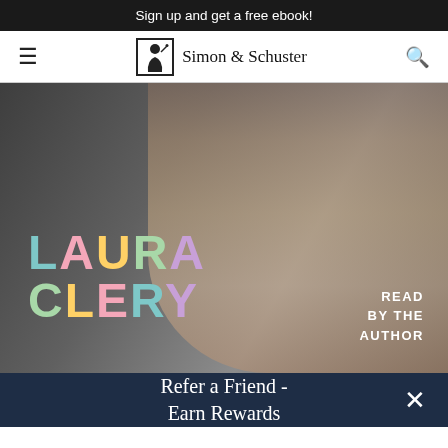Sign up and get a free ebook!
[Figure (logo): Simon & Schuster publisher logo with navigation bar showing hamburger menu on left, Simon & Schuster logo in center, and search icon on right]
[Figure (photo): Book cover for Laura Clery audiobook featuring a woman with colorful hair rollers, bare shoulders. Author name LAURA CLERY displayed in large multicolored letters on the left. Text 'READ BY THE AUTHOR' in white bold uppercase on the right.]
Refer a Friend - Earn Rewards